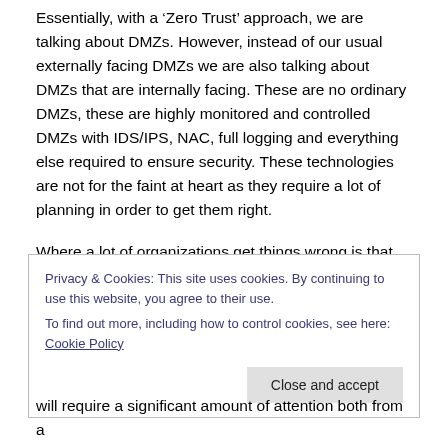Essentially, with a 'Zero Trust' approach, we are talking about DMZs.  However, instead of our usual externally facing DMZs we are also talking about DMZs that are internally facing.  These are no ordinary DMZs, these are highly monitored and controlled DMZs with IDS/IPS, NAC, full logging and everything else required to ensure security.  These technologies are not for the faint at heart as they require a lot of planning in order to get them right.
Where a lot of organizations get things wrong is that they
Privacy & Cookies: This site uses cookies. By continuing to use this website, you agree to their use.
To find out more, including how to control cookies, see here: Cookie Policy
Close and accept
will require a significant amount of attention both from a